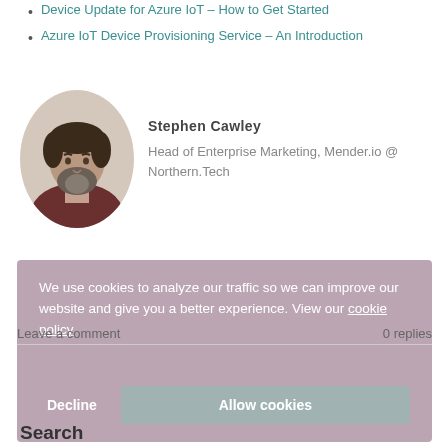Device Update for Azure IoT – How to Get Started
Azure IoT Device Provisioning Service – An Introduction
[Figure (photo): Headshot photo of Stephen Cawley, a man with dark hair and beard wearing a dark red sweater, shown in a rounded portrait crop.]
Stephen Cawley
Head of Enterprise Marketing, Mender.io @ Northern.Tech
We use cookies to analyze our traffic so we can improve our website and give you a better experience. View our cookie policy
Leave a comment
0 replies
Decline
Allow cookies
Search